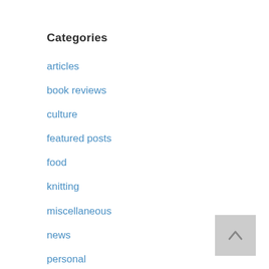Categories
articles
book reviews
culture
featured posts
food
knitting
miscellaneous
news
personal
politics
technology
tweets